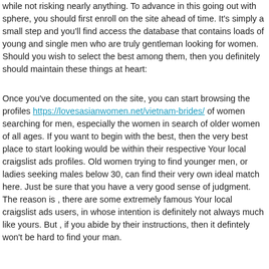while not risking nearly anything. To advance in this going out with sphere, you should first enroll on the site ahead of time. It's simply a small step and you'll find access the database that contains loads of young and single men who are truly gentleman looking for women. Should you wish to select the best among them, then you definitely should maintain these things at heart:
Once you've documented on the site, you can start browsing the profiles https://lovesasianwomen.net/vietnam-brides/ of women searching for men, especially the women in search of older women of all ages. If you want to begin with the best, then the very best place to start looking would be within their respective Your local craigslist ads profiles. Old women trying to find younger men, or ladies seeking males below 30, can find their very own ideal match here. Just be sure that you have a very good sense of judgment. The reason is , there are some extremely famous Your local craigslist ads users, in whose intention is definitely not always much like yours. But , if you abide by their instructions, then it defintely won't be hard to find your man.